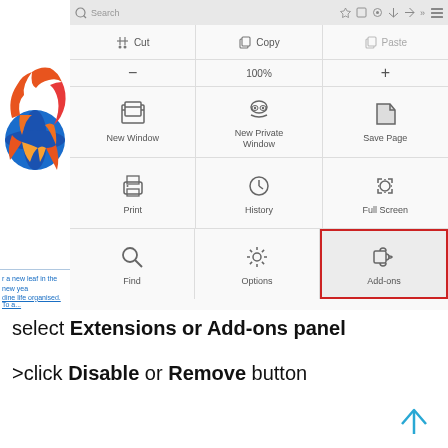[Figure (screenshot): Firefox browser menu open showing options: Cut, Copy, Paste, zoom controls, New Window, New Private Window, Save Page, Print, History, Full Screen, Find, Options, and Add-ons (highlighted with red border).]
select Extensions or Add-ons panel
>click Disable or Remove button